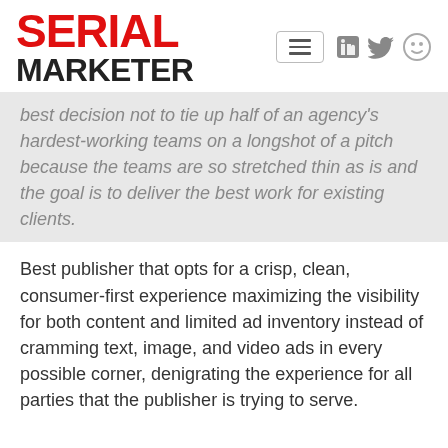SERIAL MARKETER
best decision not to tie up half of an agency's hardest-working teams on a longshot of a pitch because the teams are so stretched thin as is and the goal is to deliver the best work for existing clients.
Best publisher that opts for a crisp, clean, consumer-first experience maximizing the visibility for both content and limited ad inventory instead of cramming text, image, and video ads in every possible corner, denigrating the experience for all parties that the publisher is trying to serve.